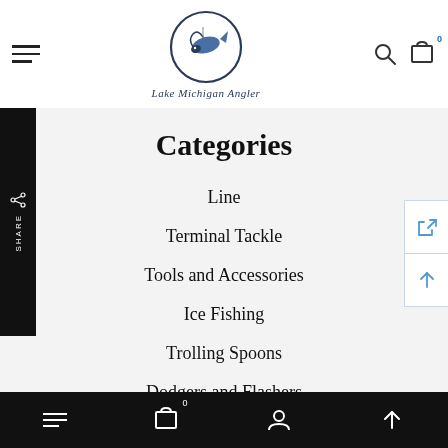[Figure (logo): Lake Michigan Angler logo with fish in circle and script text below]
Categories
Line
Terminal Tackle
Tools and Accessories
Ice Fishing
Trolling Spoons
Dodgers and Flashers
0 (cart icon) (user icon) (up arrow)